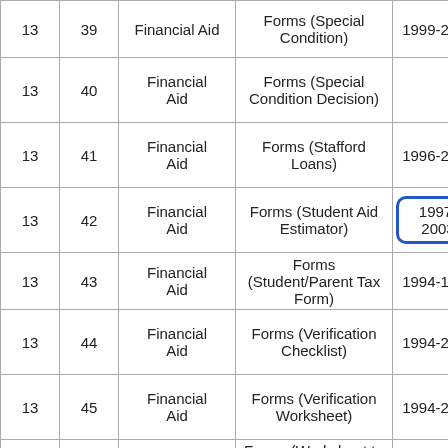|  |  |  |  |  |
| --- | --- | --- | --- | --- |
| 13 | 39 | Financial Aid | Forms (Special Condition) | 1999-2011 |
| 13 | 40 | Financial Aid | Forms (Special Condition Decision) |  |
| 13 | 41 | Financial Aid | Forms (Stafford Loans) | 1996-2004 |
| 13 | 42 | Financial Aid | Forms (Student Aid Estimator) | 1997-2003 |
| 13 | 43 | Financial Aid | Forms (Student/Parent Tax Form) | 1994-1996 |
| 13 | 44 | Financial Aid | Forms (Verification Checklist) | 1994-2003 |
| 13 | 45 | Financial Aid | Forms (Verification Worksheet) | 1994-2010 |
| 13 | 46 | Financial Aid | Forms (Worksheet to Determine How Much You Owe) | 9/10/2002 |